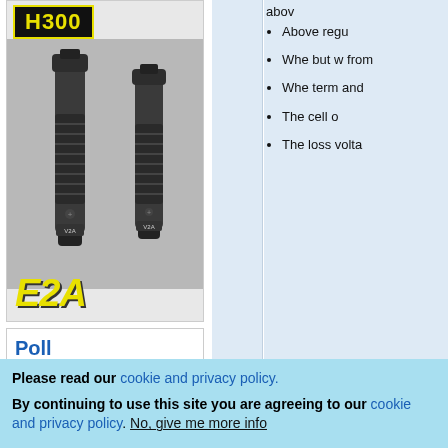[Figure (photo): Product photo of two SureFire flashlights (E2A model) with H300 branding, shown against a gray background with yellow E2A text label at bottom]
Poll
above
Above regular
When but w from
When term and
The cell o
The loss volta
Please read our cookie and privacy policy.
By continuing to use this site you are agreeing to our cookie and privacy policy. No, give me more info